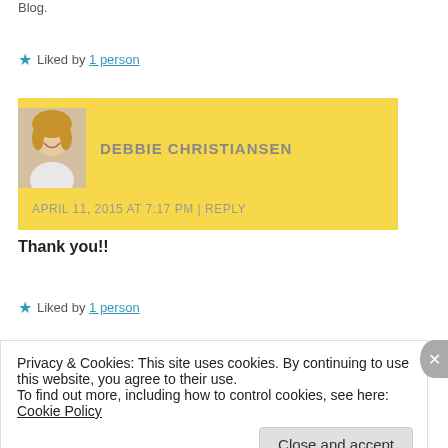Blog.
★ Liked by 1 person
DEBBIE CHRISTIANSEN
APRIL 11, 2015 AT 7:17 PM | REPLY
Thank you!!
★ Liked by 1 person
Privacy & Cookies: This site uses cookies. By continuing to use this website, you agree to their use.
To find out more, including how to control cookies, see here: Cookie Policy